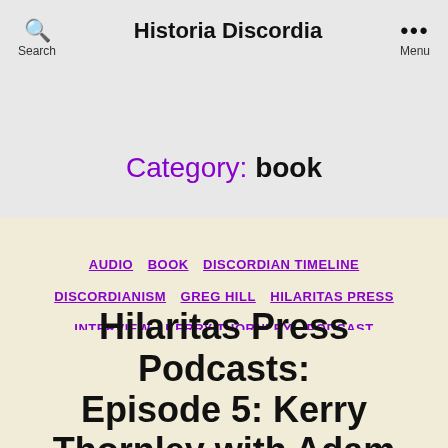Historia Discordia
Category: book
AUDIO  BOOK  DISCORDIAN TIMELINE  DISCORDIANISM  GREG HILL  HILARITAS PRESS  INTERVIEW  KERRY THORNLEY  PODCAST  ROBERT ANTON WILSON  ROBERT NEWPORT
Hilaritas Press Podcasts: Episode 5: Kerry Thornley with Adam Gorightly